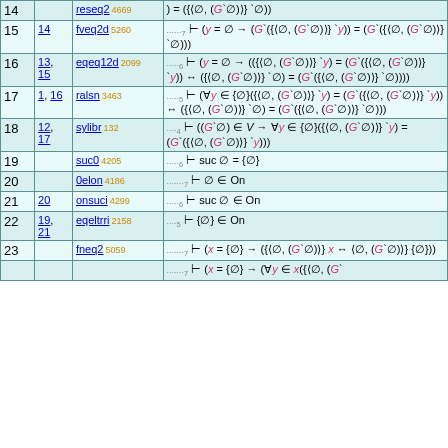| # | Ref | Rule | Formula |
| --- | --- | --- | --- |
| 14 |  | reseq2 4669 | ) = ({⟨∅,(G`∅)⟩} [img]`∅)) |
| 15 | 14 | fveq2d 5260 | ......7 ⊢ (y = ∅ → (G`({⟨∅,(G`∅)⟩} [img]`y)) = (G`({⟨∅,(G`∅)⟩} [img]`∅))) |
| 16 | 13, 15 | eqeq12d 2099 | .....6 ⊢ (y = ∅ → (({⟨∅,(G`∅)⟩} [img]`y) = (G`({⟨∅,(G`∅)⟩} [img]`y)) ↔ ({⟨∅,(G`∅)⟩} [img]`∅) = (G`({⟨∅,(G`∅)⟩} [img]`∅)))) |
| 17 | 1, 16 | ralsn 3463 | .....5 ⊢ (∀y ∈ {∅}({⟨∅,(G`∅)⟩} [img]`y) = (G`({⟨∅,(G`∅)⟩} [img]`y)) ↔ ({⟨∅,(G`∅)⟩} [img]`∅) = (G`({⟨∅,(G`∅)⟩} [img]`∅))) |
| 18 | 12, 17 | sylibr 132 | ....4 ⊢ ((G`∅) ∈ V → ∀y ∈ {∅}({⟨∅,(G`∅)⟩} [img]`y) = (G`({⟨∅,(G`∅)⟩} [img]`y))) |
| 19 |  | suc0 4205 | .....6 ⊢ suc ∅ = {∅} |
| 20 |  | 0elon 4186 | .......7 ⊢ ∅ ∈ On |
| 21 | 20 | onsuci 4299 | .....6 ⊢ suc ∅ ∈ On |
| 22 | 19, 21 | eqeltrri 2158 | .....5 ⊢ {∅} ∈ On |
| 23 |  | fneq2 5059 | .......7 ⊢ (x = {∅} → ({⟨∅,(G`∅)⟩} [Fn] x ↔ ⟨∅,(G`∅)⟩} [Fn] {∅})) |
| 24 |  |  | .......7 ⊢ (x = {∅} → (∀y ∈ x({⟨∅,(G`... |